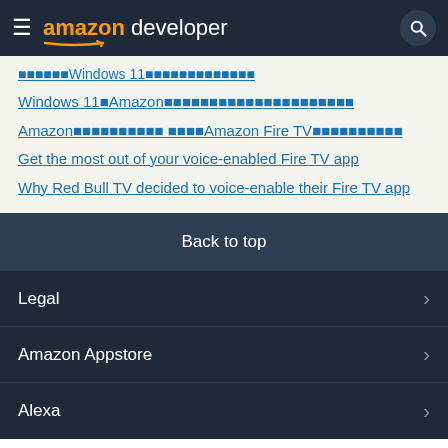amazon developer
Windows 11でAmazon...
Windows 11でAmazonのアプリストアを使用してアプリを開発する方法
Amazonのコンテンツパートナー Amazon Fire TVへのコンテンツの追加方法
Get the most out of your voice-enabled Fire TV app
Why Red Bull TV decided to voice-enable their Fire TV app
Back to top
Legal
Amazon Appstore
Alexa